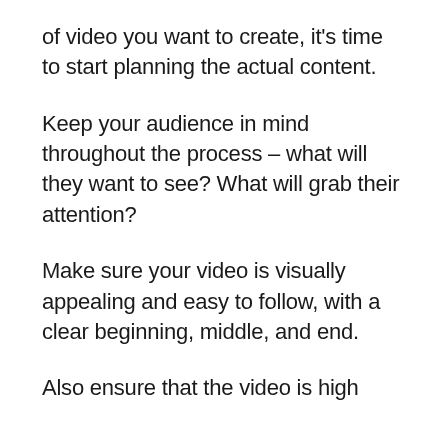of video you want to create, it's time to start planning the actual content.
Keep your audience in mind throughout the process – what will they want to see? What will grab their attention?
Make sure your video is visually appealing and easy to follow, with a clear beginning, middle, and end.
Also ensure that the video is high